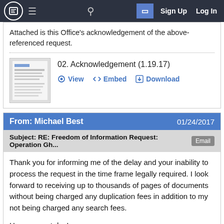Sign Up  Log In
Attached is this Office's acknowledgement of the above-referenced request.
02. Acknowledgement (1.19.17)
View   Embed   Download
From: Michael Best   01/24/2017
Subject: RE: Freedom of Information Request: Operation Gh...   Email
Thank you for informing me of the delay and your inability to process the request in the time frame legally required. I look forward to receiving up to thousands of pages of documents without being charged any duplication fees in addition to my not being charged any search fees.

Have a great day!